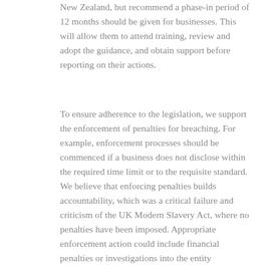New Zealand, but recommend a phase-in period of 12 months should be given for businesses. This will allow them to attend training, review and adopt the guidance, and obtain support before reporting on their actions.
To ensure adherence to the legislation, we support the enforcement of penalties for breaching. For example, enforcement processes should be commenced if a business does not disclose within the required time limit or to the requisite standard. We believe that enforcing penalties builds accountability, which was a critical failure and criticism of the UK Modern Slavery Act, where no penalties have been imposed. Appropriate enforcement action could include financial penalties or investigations into the entity (reflecting financial and reputational risk for non-complying entities) and public statements issued by the breaching company.